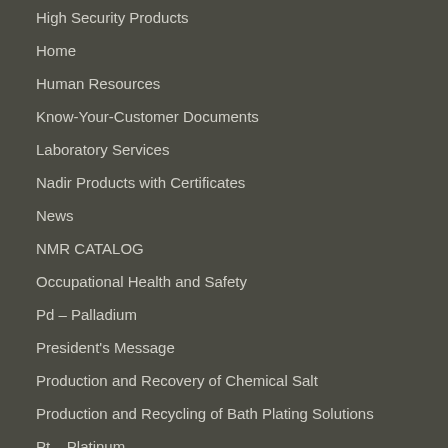High Security Products
Home
Human Resources
Know-Your-Customer Documents
Laboratory Services
Nadir Products with Certificates
News
NMR CATALOG
Occupational Health and Safety
Pd – Palladium
President's Message
Production and Recovery of Chemical Salt
Production and Recycling of Bath Plating Solutions
Pt – Platinum
Quality
Recovery of precious metal from hazardous and non-hazardous wastes